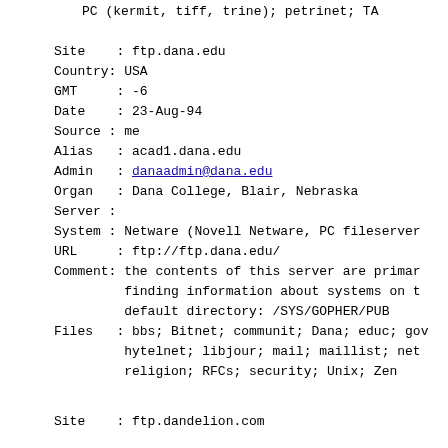PC (kermit, tiff, trine); petrinet; TA
Site    : ftp.dana.edu
Country: USA
GMT     : -6
Date    : 23-Aug-94
Source : me
Alias   : acad1.dana.edu
Admin   : danaadmin@dana.edu
Organ   : Dana College, Blair, Nebraska
Server :
System : Netware (Novell Netware, PC fileserver
URL     : ftp://ftp.dana.edu/
Comment: the contents of this server are primar
          finding information about systems on t
          default directory: /SYS/GOPHER/PUB
Files   : bbs; Bitnet; communit; Dana; educ; gov
          hytelnet; libjour; mail; maillist; net
          religion; RFCs; security; Unix; Zen
Site    : ftp.dandelion.com